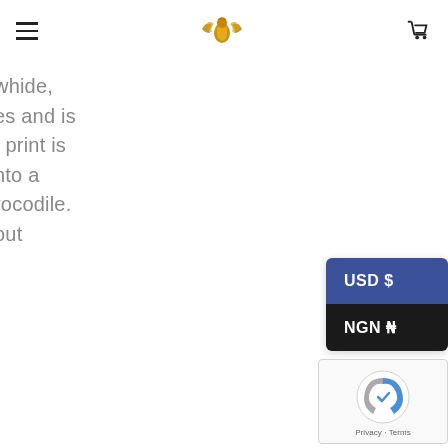Navigation header with hamburger menu, logo, and cart icon
whide,
es and is
f print is
nto a
rocodile.
out
[Figure (other): Currency selector dropdown showing USD $ (blue background) and NGN ₦ (black background) options]
[Figure (other): Google reCAPTCHA widget with logo and Privacy/Terms links]